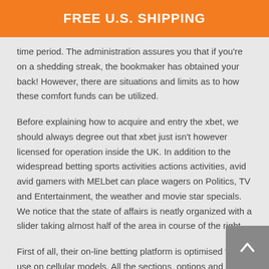FREE U.S. SHIPPING
time period. The administration assures you that if you're on a shedding streak, the bookmaker has obtained your back! However, there are situations and limits as to how these comfort funds can be utilized.
Before explaining how to acquire and entry the xbet, we should always degree out that xbet just isn't however licensed for operation inside the UK. In addition to the widespread betting sports activities actions activities, avid avid gamers with MELbet can place wagers on Politics, TV and Entertainment, the weather and movie star specials. We notice that the state of affairs is neatly organized with a slider taking almost half of the area in course of the right.
First of all, their on-line betting platform is optimised for use on cellular models. All the sections, options and options out there at